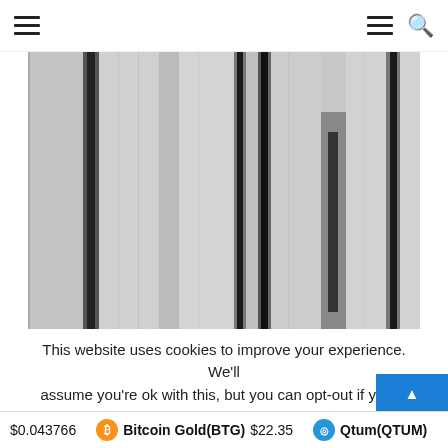Navigation header with hamburger menu and search icon
[Figure (photo): Close-up photograph of vertical black and gray stripes or bars, resembling corrugated metal panels or spectral barcode lines, rendered in grayscale]
This website uses cookies to improve your experience. We'll assume you're ok with this, but you can opt-out if you w
$0.043766   Bitcoin Gold(BTG) $22.35   Qtum(QTUM)